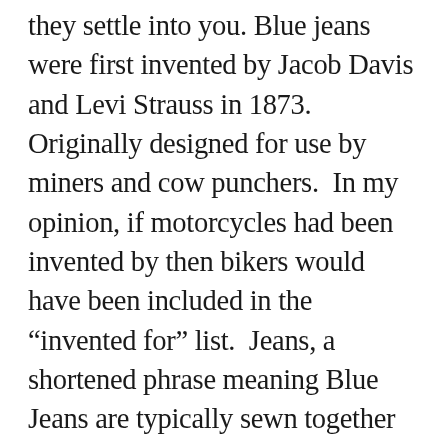they settle into you. Blue jeans were first invented by Jacob Davis and Levi Strauss in 1873.  Originally designed for use by miners and cow punchers.  In my opinion, if motorcycles had been invented by then bikers would have been included in the “invented for” list.  Jeans, a shortened phrase meaning Blue Jeans are typically sewn together using denim material.  An FYI here:  Denim is a sturdy woven cotton textile that is made in a weaving process wherein denim cords are woven together with the “weft” passing under two or more “warp” threads.  This twill weaving produces the familiar diagonal ribbing of denim that distinguishes it from other